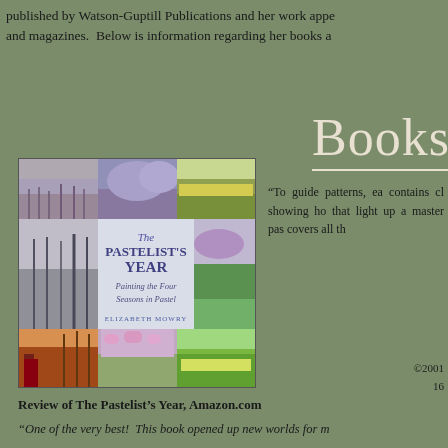published by Watson-Guptill Publications and her work appe and magazines.  Below is information regarding her books a
Books
[Figure (photo): Book cover of 'The Pastelist's Year: Painting the Four Seasons in Pastel' by Elizabeth Mowry, showing a grid of pastel landscape paintings of different seasons]
“To guide patterns, ea contains cl showing ho that light up a master pas covers all th
©2001 16
Review of The Pastelist’s Year, Amazon.com
“One of the very best!  This book opened up new worlds for m